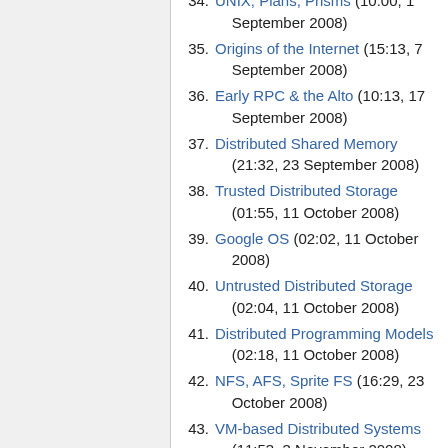34. UNIX, Plans, Prisms (10:00, 1 September 2008)
35. Origins of the Internet (15:13, 7 September 2008)
36. Early RPC & the Alto (10:13, 17 September 2008)
37. Distributed Shared Memory (21:32, 23 September 2008)
38. Trusted Distributed Storage (01:55, 11 October 2008)
39. Google OS (02:02, 11 October 2008)
40. Untrusted Distributed Storage (02:04, 11 October 2008)
41. Distributed Programming Models (02:18, 11 October 2008)
42. NFS, AFS, Sprite FS (16:29, 23 October 2008)
43. VM-based Distributed Systems (11:53, 3 November 2008)